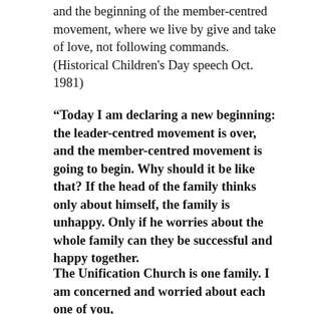and the beginning of the member-centred movement, where we live by give and take of love, not following commands. (Historical Children's Day speech Oct. 1981)
“Today I am declaring a new beginning: the leader-centred movement is over, and the member-centred movement is going to begin. Why should it be like that? If the head of the family thinks only about himself, the family is unhappy. Only if he worries about the whole family can they be successful and happy together.
The Unification Church is one family. I am concerned and worried about each one of you, and you should be concerned and worried about